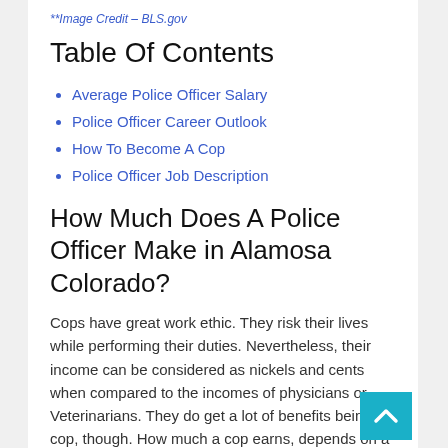**Image Credit – BLS.gov
Table Of Contents
Average Police Officer Salary
Police Officer Career Outlook
How To Become A Cop
Police Officer Job Description
How Much Does A Police Officer Make in Alamosa Colorado?
Cops have great work ethic. They risk their lives while performing their duties. Nevertheless, their income can be considered as nickels and cents when compared to the incomes of physicians or Veterinarians. They do get a lot of benefits being a cop, though. How much a cop earns, depends on a lot of factors like where he works, how m… he or she works and what unit he or she is assigned to… us look at the average salaries of different cops and see how